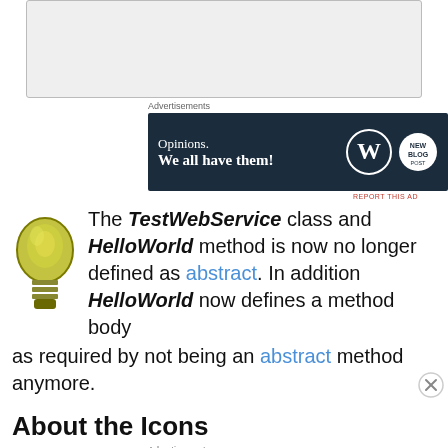[Figure (other): Gray placeholder box at top of page (advertisement area)]
Advertisements
[Figure (other): WordPress advertisement banner: 'Opinions. We all have them!' with WordPress and blog logos on dark navy background]
REPORT THIS AD
The TestWebService class and HelloWorld method is now no longer defined as abstract. In addition HelloWorld now defines a method body as required by not being an abstract method anymore.
About the Icons
Advertisements
[Figure (other): DuckDuckGo advertisement banner: 'Search, browse, and email with more privacy. All in One Free App' on orange background with DuckDuckGo logo]
REPORT THIS AD